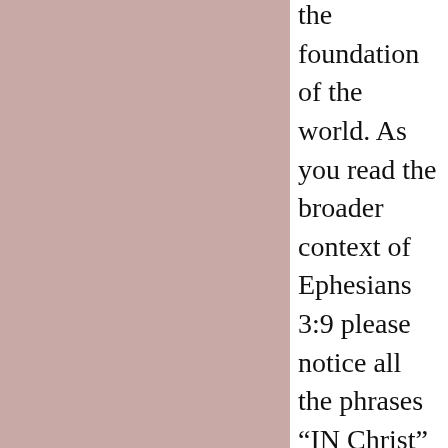the foundation of the world. As you read the broader context of Ephesians 3:9 please notice all the phrases “IN Christ” and